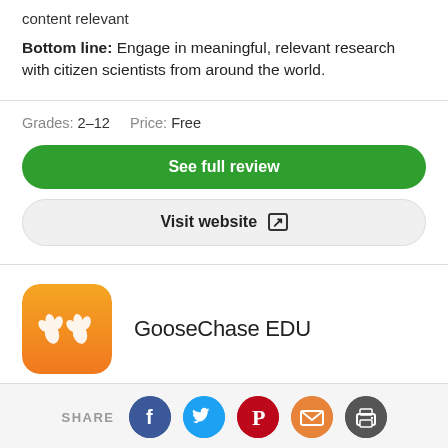content relevant
Bottom line: Engage in meaningful, relevant research with citizen scientists from around the world.
Grades: 2–12   Price: Free
See full review
Visit website
GooseChase EDU
SHARE